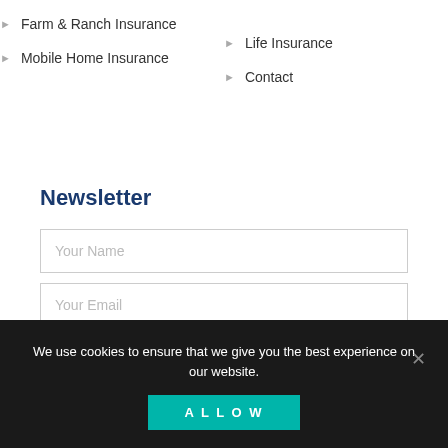Farm & Ranch Insurance
Mobile Home Insurance
Life Insurance
Contact
Newsletter
Your Name
Your Email
SUBSCRIBE
We use cookies to ensure that we give you the best experience on our website.
ALLOW